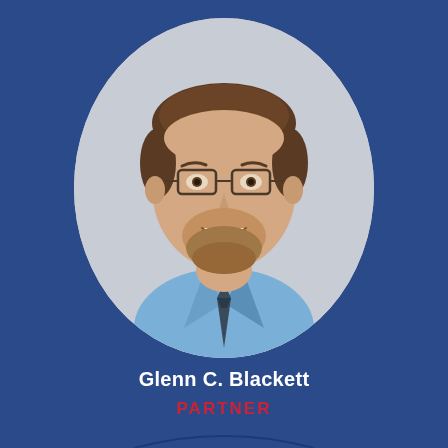[Figure (photo): Professional headshot of Glenn C. Blackett, a man with brown hair, beard, glasses, wearing a light blue dress shirt and dark tie, displayed in an oval frame on a blue background.]
Glenn C. Blackett
PARTNER